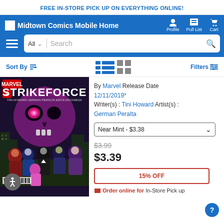FREE IN-STORE PICK UP ON EVERYTHING ONLINE!
Midtown Comics Mobile Home  Profile  Pull List  Cart
Sort By  Filters
[Figure (photo): Cover of Strikeforce #4 comic book by Marvel, featuring a large purple skull and a group of Marvel heroes/villains below.]
By Marvel Release Date 12/11/2019* Writer(s): Tini Howard Artist(s): German Peralta
Near Mint - $3.38
$3.99
$3.39
15% OFF
Order online for In-Store Pick up